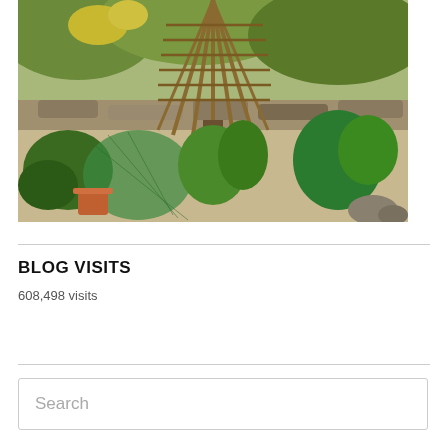[Figure (photo): A lush garden scene with various green plants, herbs, and vegetables. A wicker or bamboo tepee structure stands in the center. Terracotta pots and a green net are visible in the foreground. Rocky garden beds and warm sunlight in the background.]
BLOG VISITS
608,498 visits